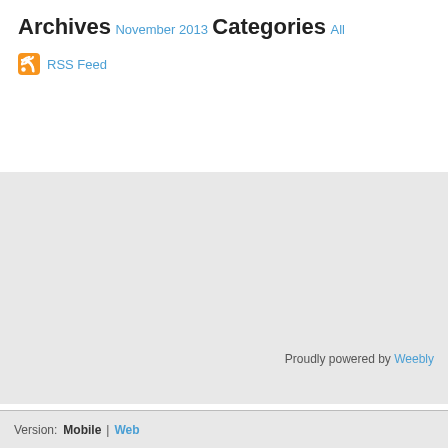Archives
November 2013
Categories
All
RSS Feed
Proudly powered by Weebly
Version:  Mobile  |  Web